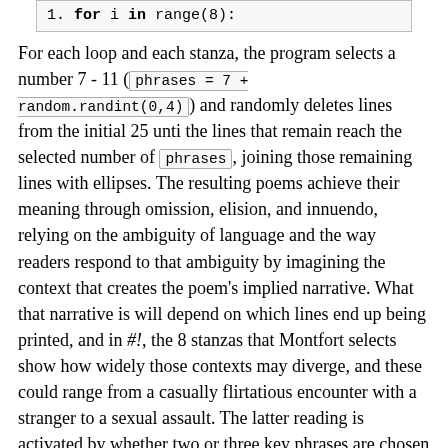1. for i in range(8):
For each loop and each stanza, the program selects a number 7 - 11 ( phrases = 7 + random.randint(0,4) ) and randomly deletes lines from the initial 25 unti the lines that remain reach the selected number of phrases , joining those remaining lines with ellipses. The resulting poems achieve their meaning through omission, elision, and innuendo, relying on the ambiguity of language and the way readers respond to that ambiguity by imagining the context that creates the poem's implied narrative. What that narrative is will depend on which lines end up being printed, and in #!, the 8 stanzas that Montfort selects show how widely those contexts may diverge, and these could range from a casually flirtatious encounter with a stranger to a sexual assault. The latter reading is activated by whether two or three key phrases are chosen to remain in the resulting poem. The suggestive phrases "The girl puts on a slutty dress", "The man makes a fist behind his back," "The man's breathing quickens," and "The man dashes, leaving pretense behind" makes "The girl's bag lies open" metonymic and lets the